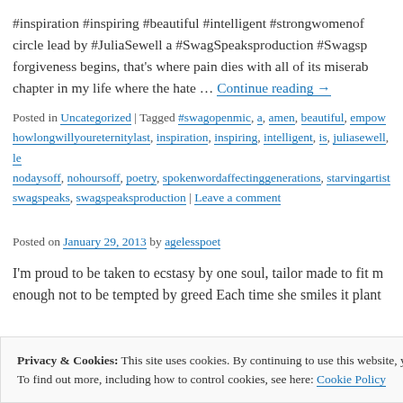#inspiration #inspiring #beautiful #intelligent #strongwomenof... circle lead by #JuliaSewell a #SwagSpeaksproduction #Swagsp... forgiveness begins, that's where pain dies with all of its miserab... chapter in my life where the hate …
Continue reading →
Posted in Uncategorized | Tagged #swagopenmic, a, amen, beautiful, empow... howlongwillyoureternitylast, inspiration, inspiring, intelligent, is, juliasewell, le... nodaysoff, nohoursoff, poetry, spokenwordaffectinggenerations, starvingartist... swagspeaks, swagspeaksproduction | Leave a comment
Posted on January 29, 2013 by agelesspoet
I'm proud to be taken to ecstasy by one soul, tailor made to fit m... enough not to be tempted by greed Each time she smiles it plant...
Privacy & Cookies: This site uses cookies. By continuing to use this website, you agree to their use. To find out more, including how to control cookies, see here: Cookie Policy